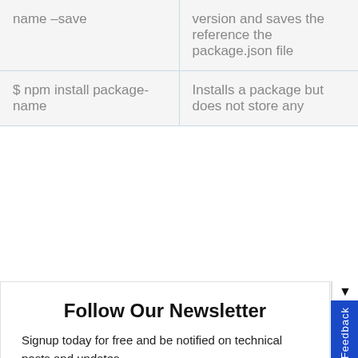| name –save | version and saves the reference the package.json file |
| $ npm install package-name | Installs a package but does not store any |
Follow Our Newsletter
Signup today for free and be notified on technical posts and updates.
Enter your email
Subscribe
powered by MailMunch